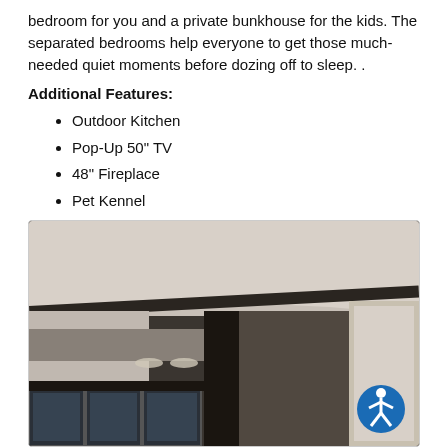bedroom for you and a private bunkhouse for the kids. The separated bedrooms help everyone to get those much-needed quiet moments before dozing off to sleep. .
Additional Features:
Outdoor Kitchen
Pop-Up 50" TV
48" Fireplace
Pet Kennel
[Figure (photo): Interior view of an RV showing the ceiling, overhead cabinets, windows along the bottom, and a doorway on the right side. An accessibility icon (blue circle with white figure) is visible in the lower right corner.]